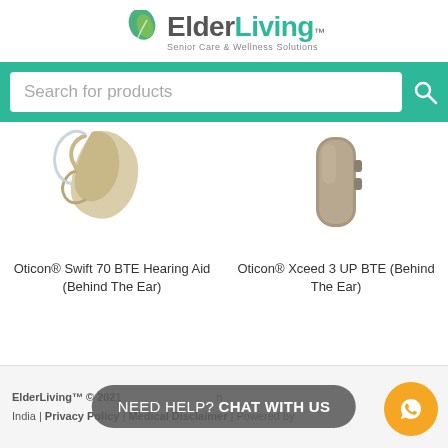[Figure (logo): ElderLiving logo with green leaf icon and tagline 'Senior Care & Wellness Solutions']
Search for products
[Figure (photo): Oticon Swift 70 BTE Hearing Aid (Behind The Ear) - beige/cream colored hearing aid device on white background]
Oticon® Swift 70 BTE Hearing Aid (Behind The Ear)
[Figure (photo): Oticon Xceed 3 UP BTE (Behind The Ear) - gray/tan hearing aid device on white background]
Oticon® Xceed 3 UP BTE (Behind The Ear)
ElderLiving™ © 2021 India | Privacy Policy | Medical Disclaimer | Powered by
NEED HELP? CHAT WITH US